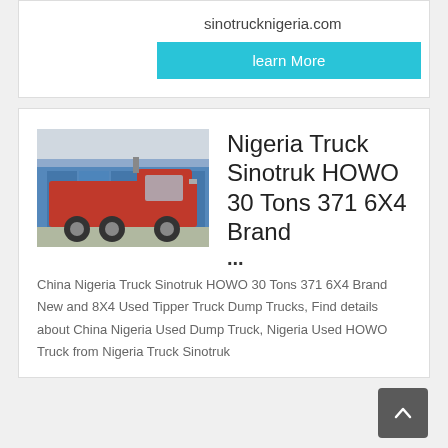sinotrucknigeria.com
learn More
[Figure (photo): Red Sinotruk HOWO truck parked in a lot with blue warehouse building in background]
Nigeria Truck Sinotruk HOWO 30 Tons 371 6X4 Brand ...
China Nigeria Truck Sinotruk HOWO 30 Tons 371 6X4 Brand New and 8X4 Used Tipper Truck Dump Trucks, Find details about China Nigeria Used Dump Truck, Nigeria Used HOWO Truck from Nigeria Truck Sinotruk